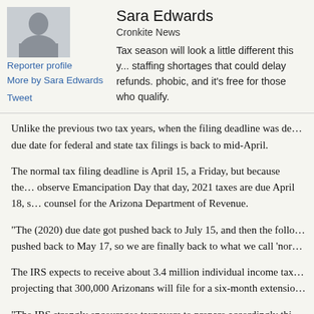[Figure (photo): Black and white portrait photo of reporter Sara Edwards]
Reporter profile
More by Sara Edwards
Tweet
Sara Edwards
Cronkite News
Tax season will look a little different this y... staffing shortages that could delay refunds. phobic, and it's free for those who qualify.
Unlike the previous two tax years, when the filing deadline was de... due date for federal and state tax filings is back to mid-April.
The normal tax filing deadline is April 15, a Friday, but because the... observe Emancipation Day that day, 2021 taxes are due April 18, s... counsel for the Arizona Department of Revenue.
“The (2020) due date got pushed back to July 15, and then the follo... pushed back to May 17, so we are finally back to what we call ‘nor
The IRS expects to receive about 3.4 million individual income tax... projecting that 300,000 Arizonans will file for a six-month extensio...
“The IRS strongly encourages taxpayers to prepare accordingly thi... More than IRS employees (They should be fili...